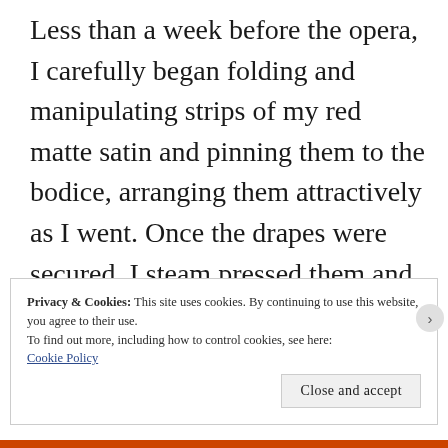Less than a week before the opera, I carefully began folding and manipulating strips of my red matte satin and pinning them to the bodice, arranging them attractively as I went. Once the drapes were secured, I steam pressed them and was ready to try on the gown for the final fitting...
Privacy & Cookies: This site uses cookies. By continuing to use this website, you agree to their use.
To find out more, including how to control cookies, see here: Cookie Policy
Close and accept